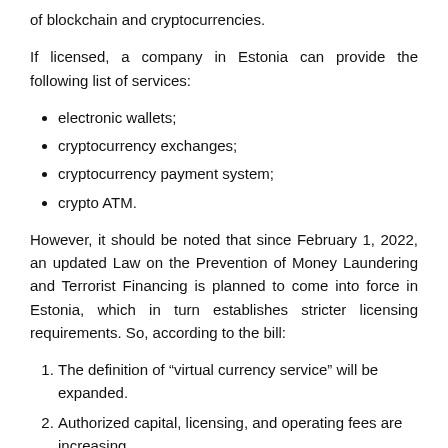of blockchain and cryptocurrencies.
If licensed, a company in Estonia can provide the following list of services:
electronic wallets;
cryptocurrency exchanges;
cryptocurrency payment system;
crypto ATM.
However, it should be noted that since February 1, 2022, an updated Law on the Prevention of Money Laundering and Terrorist Financing is planned to come into force in Estonia, which in turn establishes stricter licensing requirements. So, according to the bill:
The definition of “virtual currency service” will be expanded.
Authorized capital, licensing, and operating fees are increasing.
To obtain a financial license, an applicant will need to